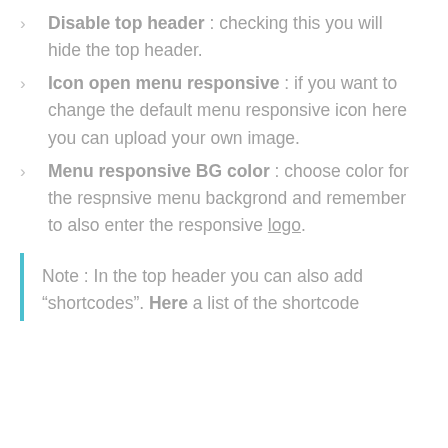Disable top header : checking this you will hide the top header.
Icon open menu responsive : if you want to change the default menu responsive icon here you can upload your own image.
Menu responsive BG color : choose color for the respnsive menu backgrond and remember to also enter the responsive logo.
Note : In the top header you can also add “shortcodes”. Here a list of the shortcode